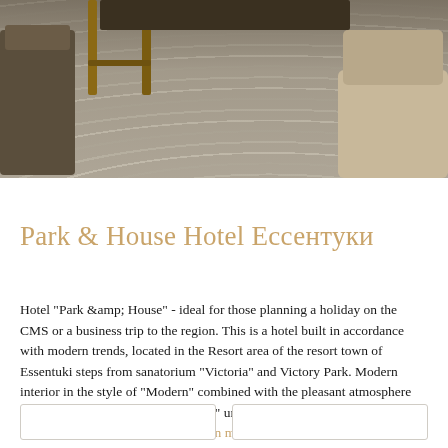[Figure (photo): Interior photo showing a hotel room or lobby area with a decorative oval-patterned rug in beige/gray tones, wooden chair legs visible, and upholstered furniture in the background.]
Park & House Hotel Ессентуки
Hotel "Park &amp; House" - ideal for those planning a holiday on the CMS or a business trip to the region. This is a hotel built in accordance with modern trends, located in the Resort area of the resort town of Essentuki steps from sanatorium "Victoria" and Victory Park. Modern interior in the style of "Modern" combined with the pleasant atmosphere make the Hotel "Park &amp; House" unique and comfortable place for residents and guests of the re... Learn more